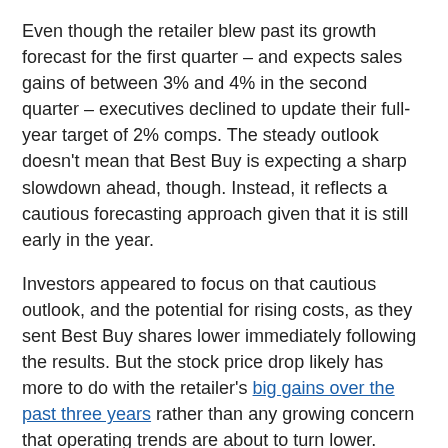Even though the retailer blew past its growth forecast for the first quarter – and expects sales gains of between 3% and 4% in the second quarter – executives declined to update their full-year target of 2% comps. The steady outlook doesn't mean that Best Buy is expecting a sharp slowdown ahead, though. Instead, it reflects a cautious forecasting approach given that it is still early in the year.
Investors appeared to focus on that cautious outlook, and the potential for rising costs, as they sent Best Buy shares lower immediately following the results. But the stock price drop likely has more to do with the retailer's big gains over the past three years rather than any growing concern that operating trends are about to turn lower.
10 stocks we like better than Best Buy When investing geniuses David and Tom Gardner have a stock tip, it can pay to listen. After all, the newsletter they have run for over a decade, Motley Fool Stock Advisor, has quadrupled the